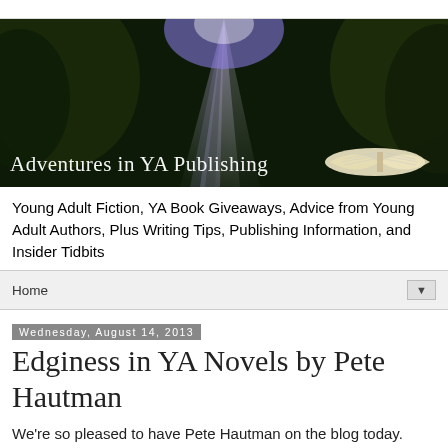[Figure (photo): Banner image for 'Adventures in YA Publishing' blog — dark forest/trees with rays of light and an open book in the lower right; white text overlay reads 'Adventures in YA Publishing']
Young Adult Fiction, YA Book Giveaways, Advice from Young Adult Authors, Plus Writing Tips, Publishing Information, and Insider Tidbits
Home ▼
Wednesday, August 14, 2013
Edginess in YA Novels by Pete Hautman
We're so pleased to have Pete Hautman on the blog today. Pete is the National Book Award winning author of fourteen